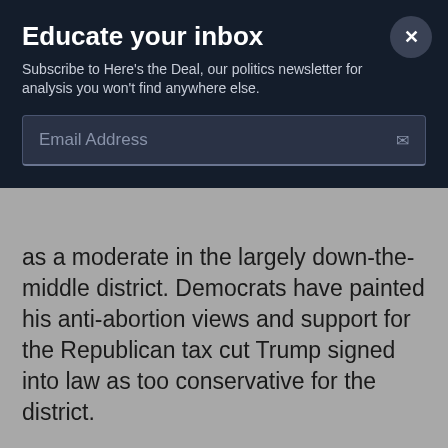Educate your inbox
Subscribe to Here's the Deal, our politics newsletter for analysis you won't find anywhere else.
Email Address
as a moderate in the largely down-the-middle district. Democrats have painted his anti-abortion views and support for the Republican tax cut Trump signed into law as too conservative for the district.
On the left, the three Democrats have varying backgrounds, but they agree on most of the issues and are locked in a tight battle for the nomination. Hader has support from several local Democratic groups